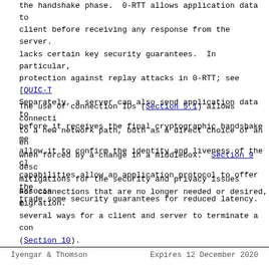the handshake phase.  0-RTT allows application data to be sent by the client before receiving any response from the server.  0-RTT lacks certain key security guarantees.  In particular, there is no protection against replay attacks in 0-RTT; see [QUIC-T...]. Separately, a server can also send application data to the client before it receives the final cryptographic handshake me... to allow it to confirm the identity and liveness of the cl... capabilities allow an application protocol to offer the... trade some security guarantees for reduced latency.
The use of connection IDs (Section 5.1) allows connecti... to a new network path, both as a direct choice of an en... when forced by a change in a middlebox.  Section 9 desc... mitigations for the security and privacy issues associa... migration.
For connections that are no longer needed or desired, t... several ways for a client and server to terminate a con... (Section 10).
Iyengar & Thomson                Expires 12 December 2020